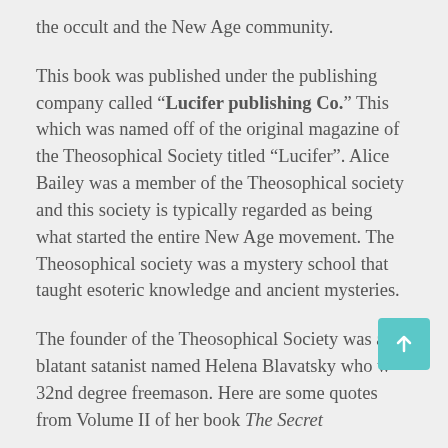the occult and the New Age community.
This book was published under the publishing company called “Lucifer publishing Co.” This which was named off of the original magazine of the Theosophical Society titled “Lucifer”. Alice Bailey was a member of the Theosophical society and this society is typically regarded as being what started the entire New Age movement. The Theosophical society was a mystery school that taught esoteric knowledge and ancient mysteries.
The founder of the Theosophical Society was a blatant satanist named Helena Blavatsky who w 32nd degree freemason. Here are some quotes from Volume II of her book The Secret